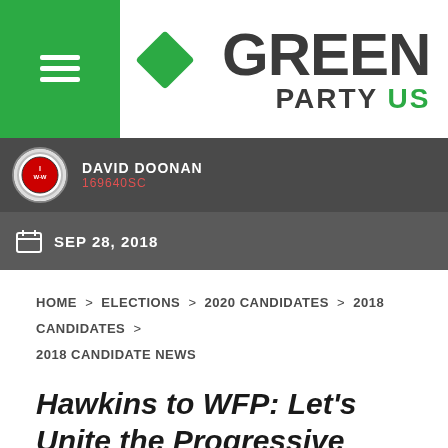[Figure (logo): Green Party US logo with green diamond and bold text]
DAVID DOONAN
169640SC
SEP 28, 2018
HOME > ELECTIONS > 2020 CANDIDATES > 2018 CANDIDATES > 2018 CANDIDATE NEWS
Hawkins to WFP: Let's Unite the Progressive Vote